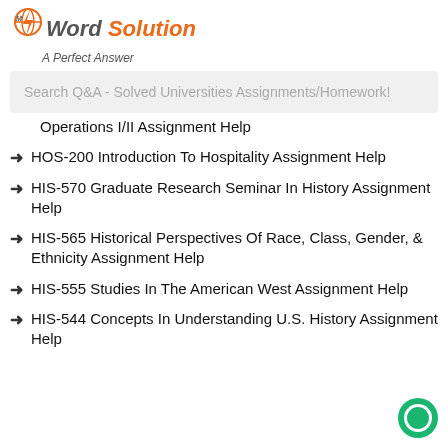[Figure (logo): My Word Solution logo with lightning bolt icon and tagline 'A Perfect Answer']
Search Q&A - Solved Universities Assignments/Homework!
Operations I/II Assignment Help
HOS-200 Introduction To Hospitality Assignment Help
HIS-570 Graduate Research Seminar In History Assignment Help
HIS-565 Historical Perspectives Of Race, Class, Gender, & Ethnicity Assignment Help
HIS-555 Studies In The American West Assignment Help
HIS-544 Concepts In Understanding U.S. History Assignment Help